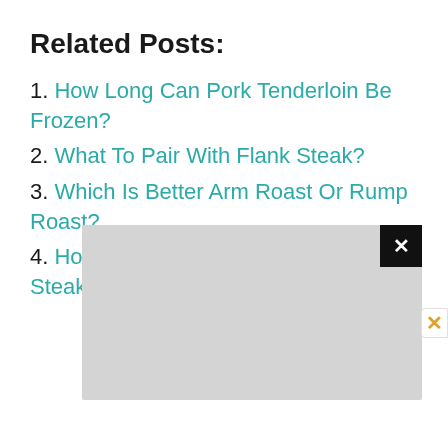Related Posts:
1. How Long Can Pork Tenderloin Be Frozen?
2. What To Pair With Flank Steak?
3. Which Is Better Arm Roast Or Rump Roast?
4. How Does Ron Swanson Eat His Steak?
[Figure (screenshot): Advertisement overlay with a gray background and a black close (X) button in the top-right corner. A secondary orange X close button appears at the far right edge.]